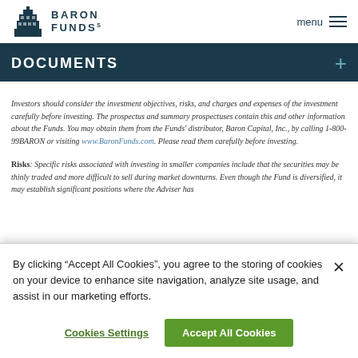BARON FUNDS  menu
DOCUMENTS
Investors should consider the investment objectives, risks, and charges and expenses of the investment carefully before investing. The prospectus and summary prospectuses contain this and other information about the Funds. You may obtain them from the Funds' distributor, Baron Capital, Inc., by calling 1-800-99BARON or visiting www.BaronFunds.com. Please read them carefully before investing.
Risks: Specific risks associated with investing in smaller companies include that the securities may be thinly traded and more difficult to sell during market downturns. Even though the Fund is diversified, it may establish significant positions where the Adviser has
By clicking “Accept All Cookies”, you agree to the storing of cookies on your device to enhance site navigation, analyze site usage, and assist in our marketing efforts.
Cookies Settings
Accept All Cookies